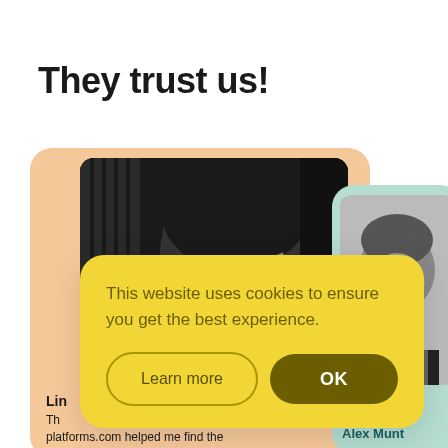They trust us!
[Figure (photo): Peach-colored testimonial card with black-and-white portrait photo of a person with dark hair, partially visible name starting with 'Lin' and review text starting with 'Th' and 'platforms.com helped me find the']
[Figure (photo): Green-colored testimonial card (partially visible on right edge) with black-and-white photo and name 'Alex Munt']
This website uses cookies to ensure you get the best experience.
Learn more
OK